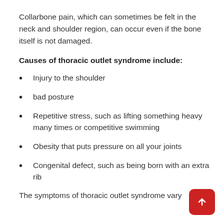Collarbone pain, which can sometimes be felt in the neck and shoulder region, can occur even if the bone itself is not damaged.
Causes of thoracic outlet syndrome include:
Injury to the shoulder
bad posture
Repetitive stress, such as lifting something heavy many times or competitive swimming
Obesity that puts pressure on all your joints
Congenital defect, such as being born with an extra rib
The symptoms of thoracic outlet syndrome vary